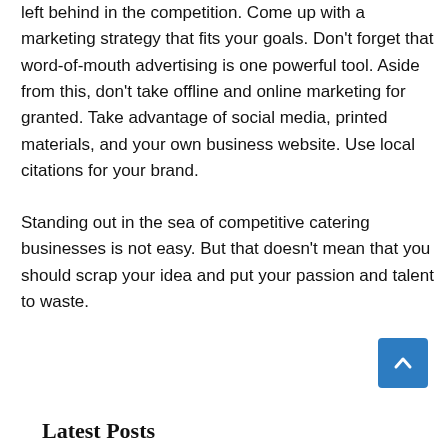left behind in the competition. Come up with a marketing strategy that fits your goals. Don't forget that word-of-mouth advertising is one powerful tool. Aside from this, don't take offline and online marketing for granted. Take advantage of social media, printed materials, and your own business website. Use local citations for your brand.
Standing out in the sea of competitive catering businesses is not easy. But that doesn't mean that you should scrap your idea and put your passion and talent to waste.
Latest Posts